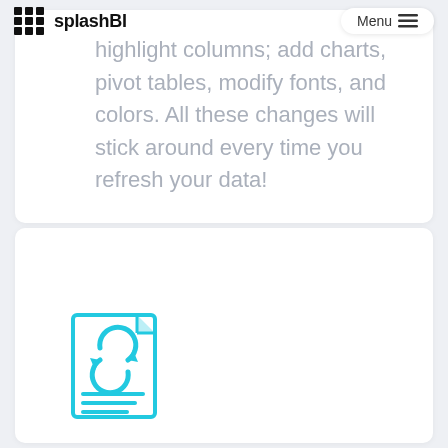splashBI  Menu
highlight columns; add charts, pivot tables, modify fonts, and colors. All these changes will stick around every time you refresh your data!
[Figure (illustration): A document icon with a cyan/turquoise refresh/recycle arrows symbol overlaid on it, with horizontal lines at the bottom representing text lines.]